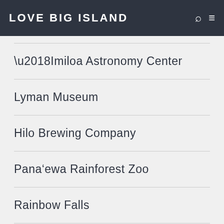LOVE BIG ISLAND
‘Imiloa Astronomy Center
Lyman Museum
Hilo Brewing Company
Pana‘ewa Rainforest Zoo
Rainbow Falls
More activities in Hilo